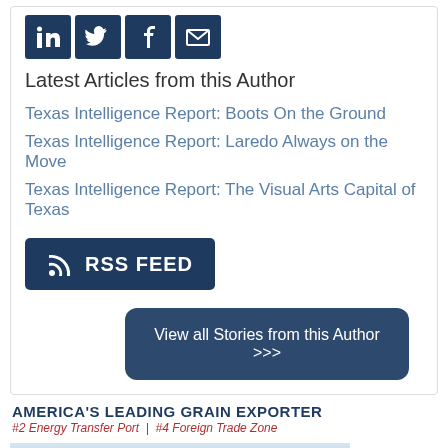[Figure (other): Social media share icons: LinkedIn, Twitter, Facebook, Email — dark navy square buttons]
Latest Articles from this Author
Texas Intelligence Report: Boots On the Ground
Texas Intelligence Report: Laredo Always on the Move
Texas Intelligence Report: The Visual Arts Capital of Texas
[Figure (other): RSS FEED button — dark navy rectangle with RSS icon and bold text]
[Figure (other): View all Stories from this Author >>> — dark navy rounded rectangle button]
AMERICA'S LEADING GRAIN EXPORTER
#2 Energy Transfer Port | #4 Foreign Trade Zone
[Figure (photo): Industrial grain facility/port silhouette against a pale grey sky]